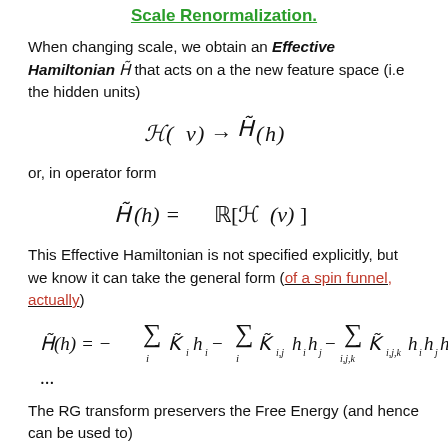Scale Renormalization.
When changing scale, we obtain an Effective Hamiltonian H̃ that acts on a the new feature space (i.e the hidden units)
or, in operator form
This Effective Hamiltonian is not specified explicitly, but we know it can take the general form (of a spin funnel, actually)
The RG transform preservers the Free Energy (and hence can be used to)